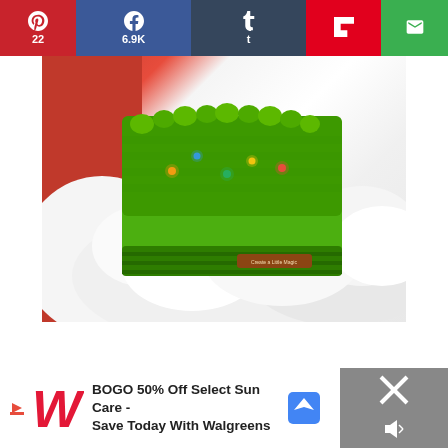[Figure (screenshot): Social share bar with Pinterest (22), Facebook (6.9K), Tumblr, Flipboard, and Email buttons]
[Figure (photo): Green crocheted Christmas hat with small lights, placed on white fluffy fabric with red background. A small brown leather label reads 'Create a Little Magic'.]
[Figure (screenshot): Advertisement banner: BOGO 50% Off Select Sun Care - Save Today With Walgreens, with Walgreens logo and map navigation icon. Close button on right side.]